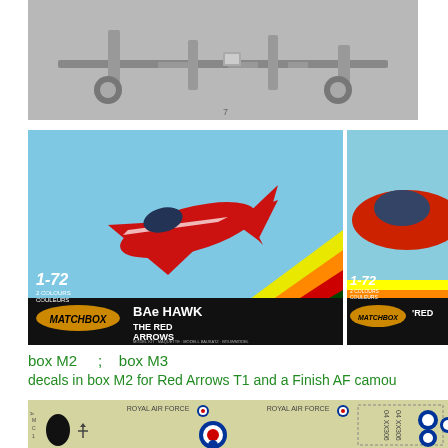[Figure (photo): Grayscale photo of a model kit aircraft landing gear or mechanical parts on a light background]
[Figure (photo): Matchbox 1-72 scale BAe Hawk The Red Arrows model kit box art showing a red jet aircraft against a colorful background]
[Figure (photo): Matchbox 1-72 scale Red Arrows model kit box art (right half cropped), showing a red jet aircraft cockpit area]
box M2   ;   box M3
decals in box M2 for Red Arrows T1 and a Finish AF camou
[Figure (photo): Decal sheet showing Royal Air Force roundels, codes XX306, RAF text markings on a beige/cream background]